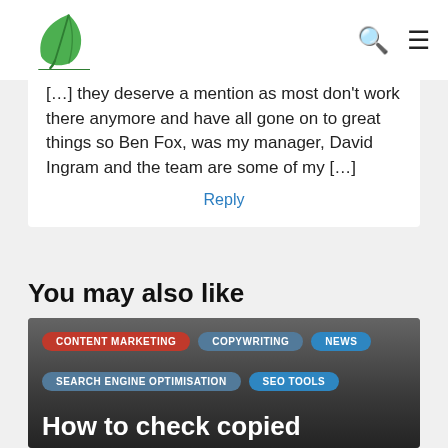[…] they deserve a mention as most don't work there anymore and have all gone on to great things so Ben Fox, was my manager, David Ingram and the team are some of my […]
Reply
You may also like
[Figure (photo): Article card with dark overlay over a photo of a person. Tags: CONTENT MARKETING, COPYWRITING, NEWS, SEARCH ENGINE OPTIMISATION, SEO TOOLS. Title: How to check copied content online for your website.]